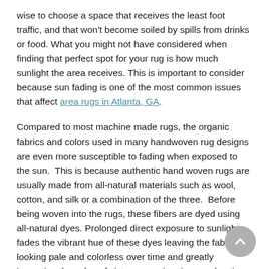wise to choose a space that receives the least foot traffic, and that won't become soiled by spills from drinks or food. What you might not have considered when finding that perfect spot for your rug is how much sunlight the area receives. This is important to consider because sun fading is one of the most common issues that affect area rugs in Atlanta, GA.
Compared to most machine made rugs, the organic fabrics and colors used in many handwoven rug designs are even more susceptible to fading when exposed to the sun. This is because authentic hand woven rugs are usually made from all-natural materials such as wool, cotton, and silk or a combination of the three. Before being woven into the rugs, these fibers are dyed using all-natural dyes. Prolonged direct exposure to sunlight fades the vibrant hue of these dyes leaving the fabric looking pale and colorless over time and greatly impacting the value of vintage, semi-antique and antique hand woven rugs.